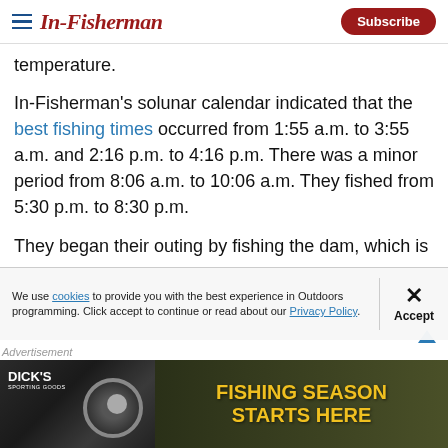In-Fisherman | Subscribe
temperature.
In-Fisherman's solunar calendar indicated that the best fishing times occurred from 1:55 a.m. to 3:55 a.m. and 2:16 p.m. to 4:16 p.m. There was a minor period from 8:06 a.m. to 10:06 a.m. They fished from 5:30 p.m. to 8:30 p.m.
They began their outing by fishing the dam, which is
We use cookies to provide you with the best experience in Outdoors programming. Click accept to continue or read about our Privacy Policy.
[Figure (photo): Dick's Sporting Goods advertisement banner: FISHING SEASON STARTS HERE]